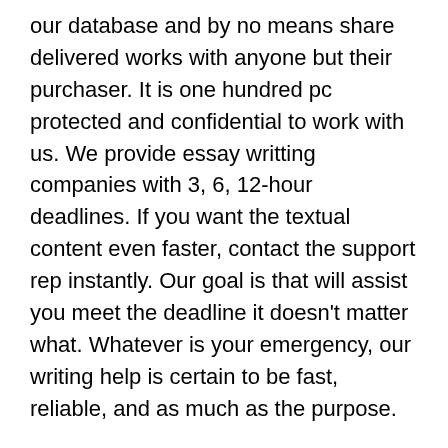our database and by no means share delivered works with anyone but their purchaser. It is one hundred pc protected and confidential to work with us. We provide essay writting companies with 3, 6, 12-hour deadlines. If you want the textual content even faster, contact the support rep instantly. Our goal is that will assist you meet the deadline it doesn't matter what. Whatever is your emergency, our writing help is certain to be fast, reliable, and as much as the purpose.
Our consultants will competently reply unusual suggestions and…